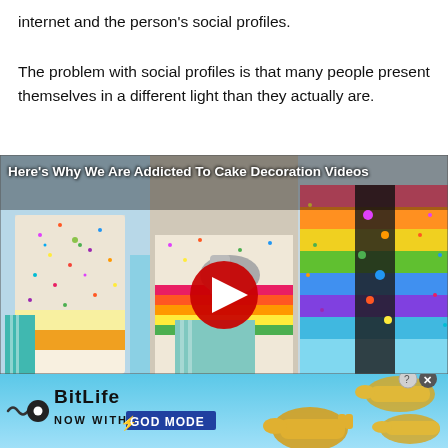internet and the person's social profiles.

The problem with social profiles is that many people present themselves in a different light than they actually are.
[Figure (screenshot): Video thumbnail showing colorful sprinkle-covered cakes with a red play button overlay. Title text reads 'Here's Why We Are Addicted To Cake Decoration Videos']
[Figure (infographic): BitLife advertisement banner with blue gradient background. Shows BitLife logo, wavy icon, and text 'NOW WITH GOD MODE' with golden pointing hand illustrations and close button.]